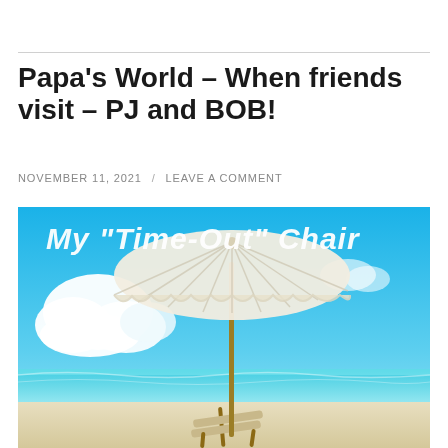Papa’s World – When friends visit – PJ and BOB!
NOVEMBER 11, 2021 / LEAVE A COMMENT
[Figure (illustration): Beach scene illustration with a large white beach umbrella, lounge chair, turquoise ocean, blue sky with white clouds, and text overlay reading: My "Time-Out" Chair]